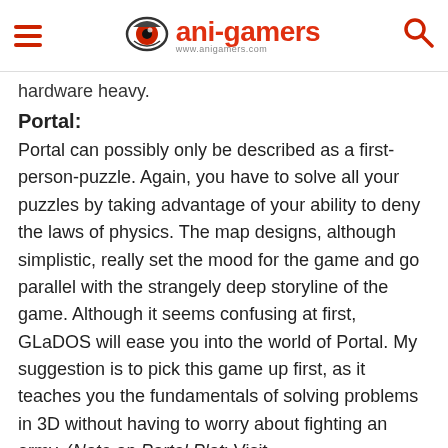ani-gamers
hardware heavy.
Portal:
Portal can possibly only be described as a first-person-puzzle. Again, you have to solve all your puzzles by taking advantage of your ability to deny the laws of physics. The map designs, although simplistic, really set the mood for the game and go parallel with the strangely deep storyline of the game. Although it seems confusing at first, GLaDOS will ease you into the world of Portal. My suggestion is to pick this game up first, as it teaches you the fundamentals of solving problems in 3D without having to worry about fighting an army. (Note on Portal Plot: Visit www.aperturescience.com for more of the storyline. Login as portal with password portal to apply for a job at Aperture, or as cjohnson with password tier3 then use the notes app to read more)